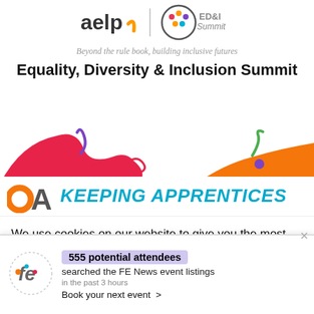[Figure (logo): AELP logo and ED&I Summit logo side by side]
Beyond the rule book, building inclusive futures
Equality, Diversity & Inclusion Summit
[Figure (illustration): Decorative abstract colourful shapes on left and right sides]
[Figure (logo): OAL logo and text KEEPING APPRENTICES in teal italic]
We use cookies on our website to give you the most relevant experience by remembering your preferences and repeat visits. By clicking “Accept”, you consent to
[Figure (logo): FE News logo in circle]
555 potential attendees
searched the FE News event listings
in the past 3 hours
Book your next event >